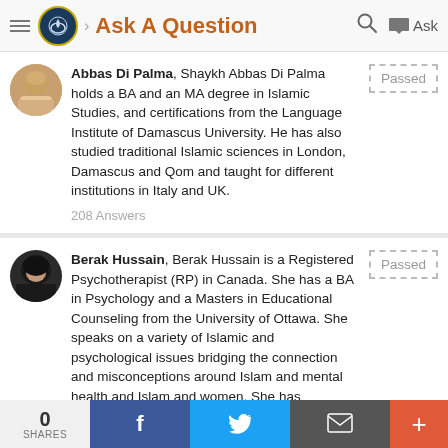Ask A Question
Abbas Di Palma, Shaykh Abbas Di Palma holds a BA and an MA degree in Islamic Studies, and certifications from the Language Institute of Damascus University. He has also studied traditional Islamic sciences in London, Damascus and Qom and taught for different institutions in Italy and UK.
208 Answers
Berak Hussain, Berak Hussain is a Registered Psychotherapist (RP) in Canada. She has a BA in Psychology and a Masters in Educational Counseling from the University of Ottawa. She speaks on a variety of Islamic and psychological issues bridging the connection and misconceptions around Islam and mental health and Islam and women. She has
0 SHARES